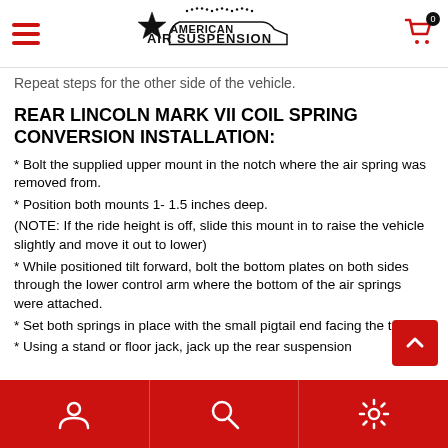American Air Suspension — navigation header with hamburger menu and cart
Repeat steps for the other side of the vehicle.
REAR LINCOLN MARK VII COIL SPRING CONVERSION INSTALLATION:
* Bolt the supplied upper mount in the notch where the air spring was removed from.
* Position both mounts 1- 1.5 inches deep.
(NOTE: If the ride height is off, slide this mount in to raise the vehicle slightly and move it out to lower)
* While positioned tilt forward, bolt the bottom plates on both sides through the lower control arm where the bottom of the air springs were attached.
* Set both springs in place with the small pigtail end facing the top.
* Using a stand or floor jack, jack up the rear suspension
Bottom navigation bar with account, search, and settings icons